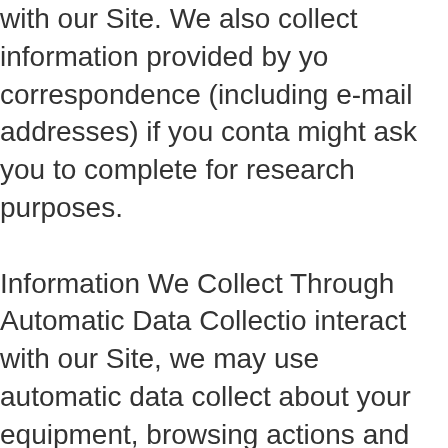with our Site. We also collect information provided by your correspondence (including e-mail addresses) if you contact us, or might ask you to complete for research purposes. Information We Collect Through Automatic Data Collection: As you interact with our Site, we may use automatic data collection technologies to collect about your equipment, browsing actions and patterns, including: traffic data, location data, logs and other communication data and the resources on the Site, and information about your computer and internet connection, including operating system and browser type. The information we collect automatically may include personal information, or we may maintain it or associate it with personal information in other ways or receive from third parties. We may also use cookies, web bugs, local shared objects and other technologies that help us which pages or items are viewed and which features are used for our research and analytics, and identify equipment and software you are using. They can show us, for example, popular pages, viewing patterns, information that can be used to improve, operate and monitor our Co